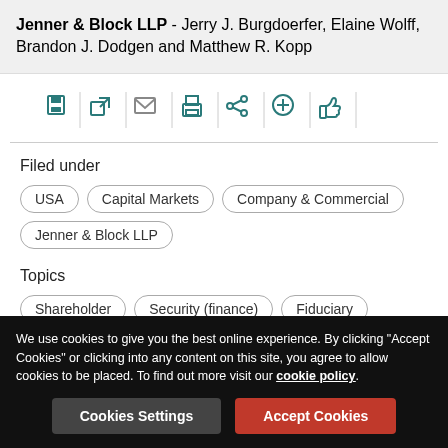Jenner & Block LLP - Jerry J. Burgdoerfer, Elaine Wolff, Brandon J. Dodgen and Matthew R. Kopp
[Figure (infographic): Toolbar with icons: save, external link, email, print, share, add, thumbs up]
Filed under
USA
Capital Markets
Company & Commercial
Jenner & Block LLP
Topics
Shareholder
Security (finance)
Fiduciary
We use cookies to give you the best online experience. By clicking "Accept Cookies" or clicking into any content on this site, you agree to allow cookies to be placed. To find out more visit our cookie policy.